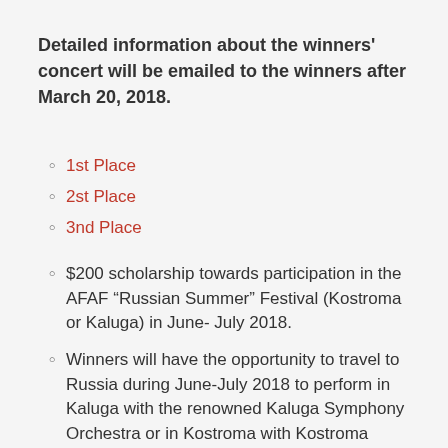Detailed information about the winners' concert will be emailed to the winners after March 20, 2018.
1st Place
2st Place
3nd Place
$200 scholarship towards participation in the AFAF “Russian Summer” Festival (Kostroma or Kaluga) in June- July 2018.
Winners will have the opportunity to travel to Russia during June-July 2018 to perform in Kaluga with the renowned Kaluga Symphony Orchestra or in Kostroma with Kostroma Symphony Orchestra.